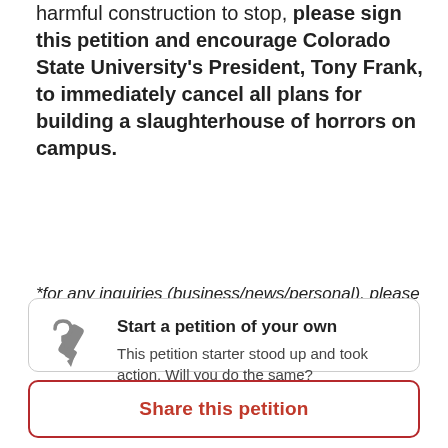harmful construction to stop, please sign this petition and encourage Colorado State University's President, Tony Frank, to immediately cancel all plans for building a slaughterhouse of horrors on campus.
*for any inquiries (business/news/personal), please do not hesitate to contact me at becca.bleil@gmail.com*
[Figure (illustration): Pen/pencil icon representing starting a petition]
Start a petition of your own
This petition starter stood up and took action. Will you do the same?
Share this petition